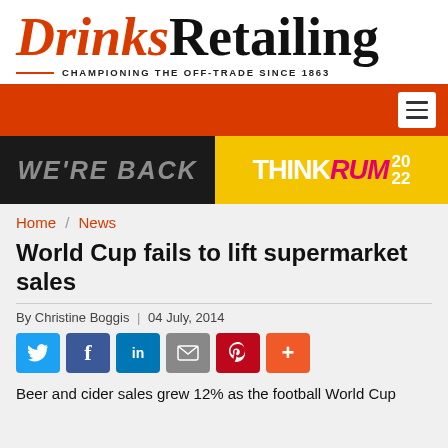[Figure (logo): Drinks Retailing logo with red italic 'Drinks' and black 'Retailing', tagline 'CHAMPIONING THE OFF-TRADE SINCE 1863']
[Figure (other): Red navigation bar with hamburger menu icon on right]
[Figure (other): Banner advertisement: 'WE'RE BACK' in greyscale left half, 'THINK RUM 2022' in yellow/pink/white on yellow right half]
Home / News
World Cup fails to lift supermarket sales
By Christine Boggis | 04 July, 2014
[Figure (other): Social sharing buttons: Twitter, Facebook, LinkedIn, Email, Pinterest, More]
Beer and cider sales grew 12% as the football World Cup